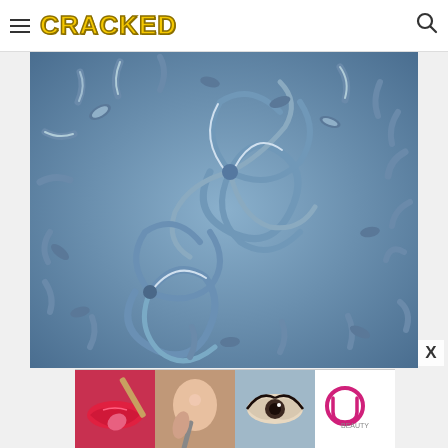CRACKED
[Figure (photo): Close-up macro photograph of blue bacterial or microorganism-like spiral/swirl structures on a blue background, resembling flagella or cilia forming vortex patterns]
[Figure (photo): Ulta Beauty advertisement banner showing beauty/makeup imagery with lips, brushes, eyes, and 'SHOP NOW' call to action]